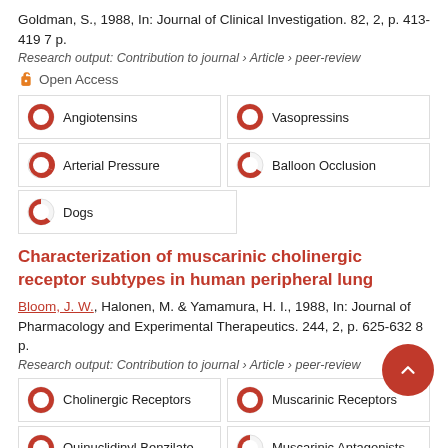Goldman, S., 1988, In: Journal of Clinical Investigation. 82, 2, p. 413-419 7 p.
Research output: Contribution to journal › Article › peer-review
Open Access
100% Angiotensins
100% Vasopressins
80% Arterial Pressure
73% Balloon Occlusion
67% Dogs
Characterization of muscarinic cholinergic receptor subtypes in human peripheral lung
Bloom, J. W., Halonen, M. & Yamamura, H. I., 1988, In: Journal of Pharmacology and Experimental Therapeutics. 244, 2, p. 625-632 8 p.
Research output: Contribution to journal › Article › peer-review
100% Cholinergic Receptors
100% Muscarinic Receptors
100% Quinuclidinyl Benzilate
73% Muscarinic Antagonists